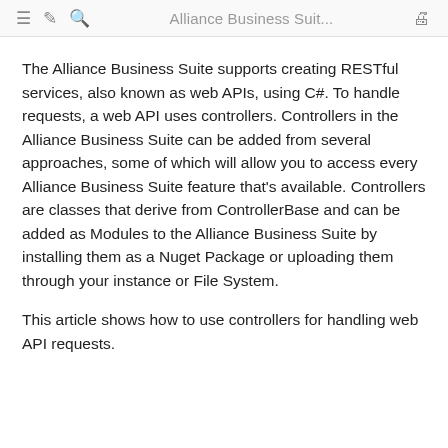≡  ✏  🔍  Alliance Business Suit...  🖨
The Alliance Business Suite supports creating RESTful services, also known as web APIs, using C#. To handle requests, a web API uses controllers. Controllers in the Alliance Business Suite can be added from several approaches, some of which will allow you to access every Alliance Business Suite feature that's available. Controllers are classes that derive from ControllerBase and can be added as Modules to the Alliance Business Suite by installing them as a Nuget Package or uploading them through your instance or File System.
This article shows how to use controllers for handling web API requests.